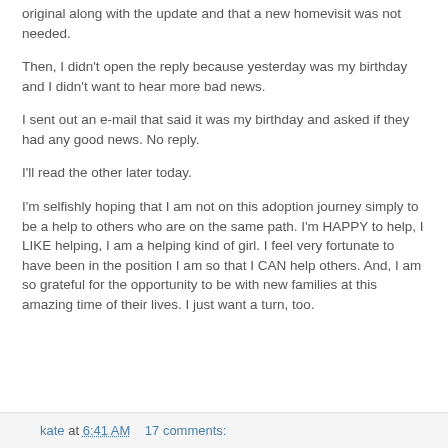original along with the update and that a new homevisit was not needed.
Then, I didn't open the reply because yesterday was my birthday and I didn't want to hear more bad news.
I sent out an e-mail that said it was my birthday and asked if they had any good news. No reply.
I'll read the other later today.
I'm selfishly hoping that I am not on this adoption journey simply to be a help to others who are on the same path. I'm HAPPY to help, I LIKE helping, I am a helping kind of girl. I feel very fortunate to have been in the position I am so that I CAN help others. And, I am so grateful for the opportunity to be with new families at this amazing time of their lives. I just want a turn, too.
kate at 6:41 AM   17 comments: